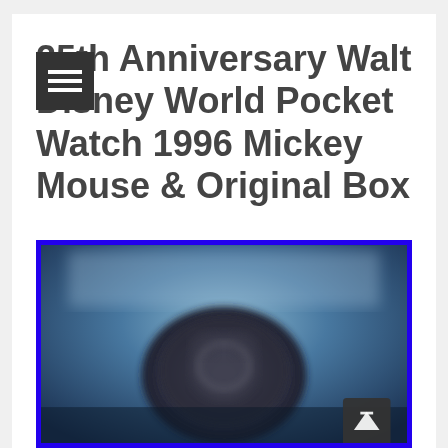25th Anniversary Walt Disney World Pocket Watch 1996 Mickey Mouse & Original Box
[Figure (photo): Blurry photo of a Walt Disney World 25th Anniversary pocket watch inside a blue-bordered display box. The watch appears dark with silvery Mickey Mouse engravings, photographed against a blue glowing background.]